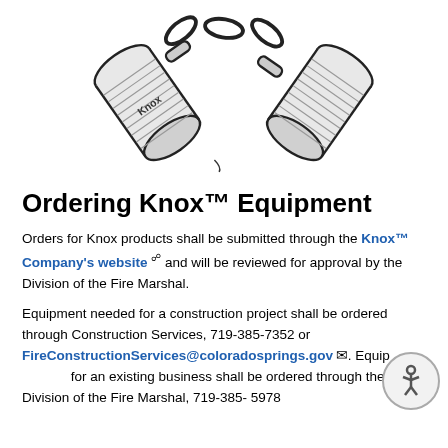[Figure (illustration): Illustration of two Knox key cylinders connected by chain links, drawn in black and white line art style. The word 'Knox' is visible on one of the cylinders.]
Ordering Knox™ Equipment
Orders for Knox products shall be submitted through the Knox™ Company's website and will be reviewed for approval by the Division of the Fire Marshal.
Equipment needed for a construction project shall be ordered through Construction Services, 719-385-7352 or FireConstructionServices@coloradosprings.gov. Equipment needed for an existing business shall be ordered through the Division of the Fire Marshal, 719-385-5978